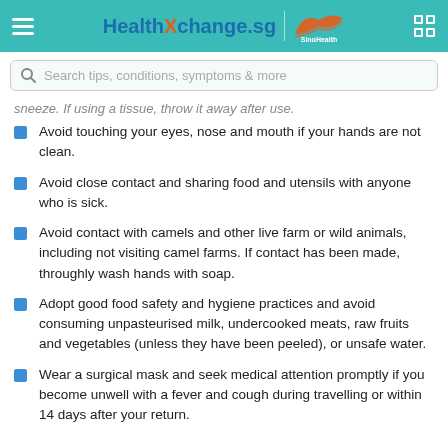HealthXchange.sg | SingHealth
sneeze. If using a tissue, throw it away after use.
Avoid touching your eyes, nose and mouth if your hands are not clean.
Avoid close contact and sharing food and utensils with anyone who is sick.
Avoid contact with camels and other live farm or wild animals, including not visiting camel farms. If contact has been made, throughly wash hands with soap.
Adopt good food safety and hygiene practices and avoid consuming unpasteurised milk, undercooked meats, raw fruits and vegetables (unless they have been peeled), or unsafe water.
Wear a surgical mask and seek medical attention promptly if you become unwell with a fever and cough during travelling or within 14 days after your return.